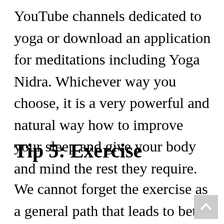YouTube channels dedicated to yoga or download an application for meditations including Yoga Nidra. Whichever way you choose, it is a very powerful and natural way how to improve your sleep and give your body and mind the rest they require.
Tip 5: Exercise
We cannot forget the exercise as a general path that leads to better